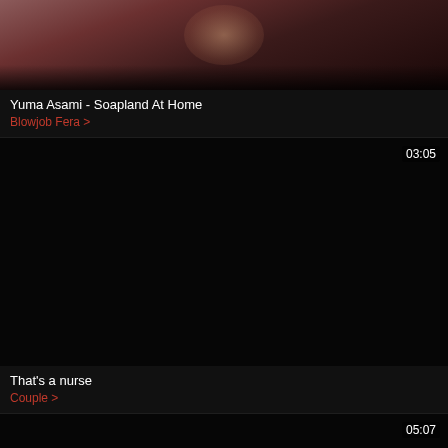[Figure (screenshot): Partial video thumbnail showing close-up of a face, brownish/warm tones]
Yuma Asami - Soapland At Home
Blowjob Fera >
[Figure (screenshot): Black video thumbnail with timestamp 03:05 in top right corner]
That's a nurse
Couple >
[Figure (screenshot): Black video thumbnail with timestamp 05:07 in top right corner]